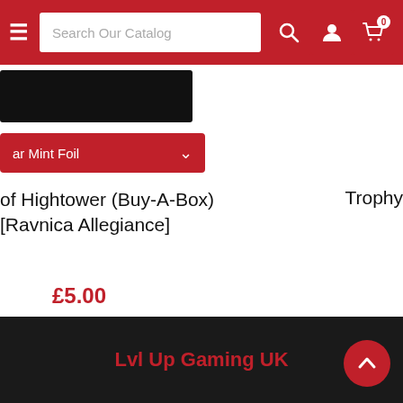Search Our Catalog
ar Mint Foil
of Hightower (Buy-A-Box) [Ravnica Allegiance]
Trophy
£5.00
Lvl Up Gaming UK